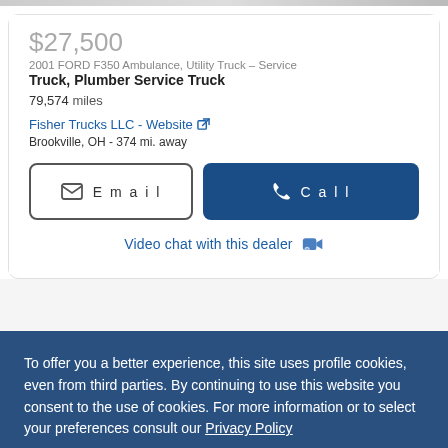$27,500
2001 FORD F350 Ambulance, Utility Truck – Service Truck, Plumber Service Truck
79,574 miles
Fisher Trucks LLC - Website
Brookville, OH - 374 mi. away
Email
Call
Video chat with this dealer
To offer you a better experience, this site uses profile cookies, even from third parties. By continuing to use this website you consent to the use of cookies. For more information or to select your preferences consult our Privacy Policy
Cookie Settings
✓ OK